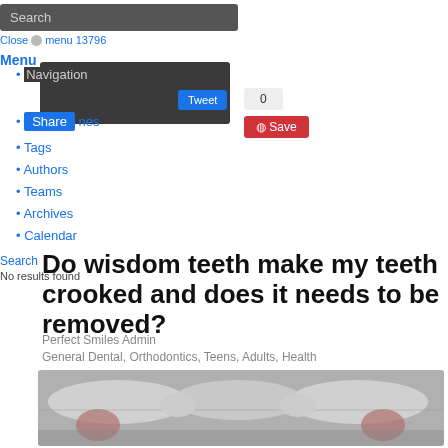Search
Close menu 13796
Menu
Navigation
Categories
Tags
Authors
Teams
Archives
Calendar
Share
Tweet
0
Save
Search
No results found
Do wisdom teeth make my teeth crooked and does it needs to be removed?
Perfect Smiles Admin
General Dental, Orthodontics, Teens, Adults, Health
[Figure (photo): Dental X-ray panoramic image showing teeth and jaw with highlighted wisdom teeth areas in pink/red]